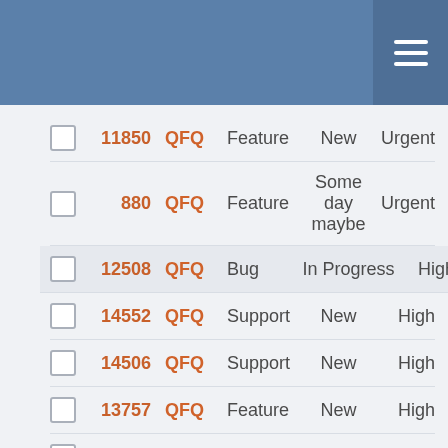|  | ID | Project | Type | Status | Priority |
| --- | --- | --- | --- | --- | --- |
|  | 11850 | QFQ | Feature | New | Urgent |
|  | 880 | QFQ | Feature | Some day maybe | Urgent |
|  | 12508 | QFQ | Bug | In Progress | High |
|  | 14552 | QFQ | Support | New | High |
|  | 14506 | QFQ | Support | New | High |
|  | 13757 | QFQ | Feature | New | High |
|  | 13716 | QFQ | Bug | New | High |
|  | 12066 | QFQ | Bug | New | High |
|  | ... | QFQ | Bug | Feedback | High |